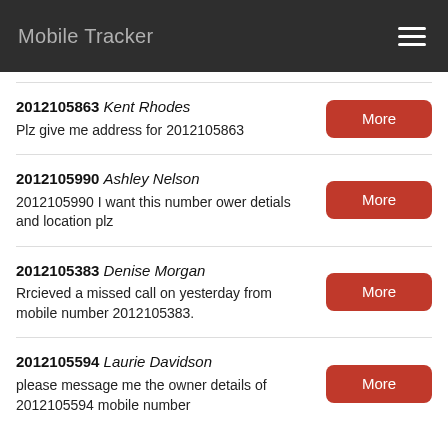Mobile Tracker
2012105863 Kent Rhodes
Plz give me address for 2012105863
2012105990 Ashley Nelson
2012105990 I want this number ower detials and location plz
2012105383 Denise Morgan
Rrcieved a missed call on yesterday from mobile number 2012105383.
2012105594 Laurie Davidson
please message me the owner details of 2012105594 mobile number